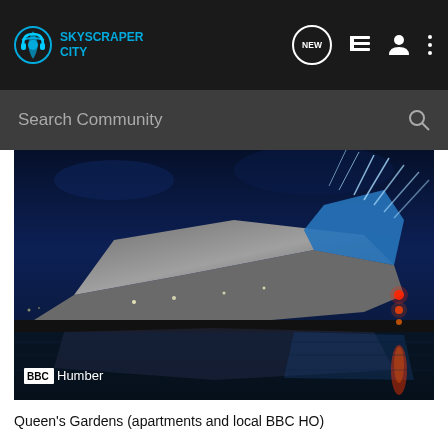SKYSCRAPER CITY
Search Community
[Figure (photo): Night photograph of The Deep aquarium in Hull (BBC Humber), a dramatic angular building lit up in silver and blue, reflected on the water. Red lights visible on the right. BBC Humber watermark in bottom left.]
Queen's Gardens (apartments and local BBC HO)